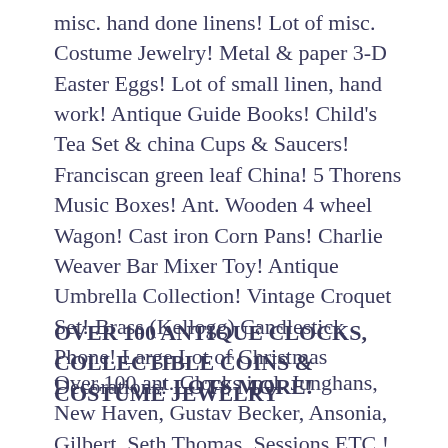misc. hand done linens! Lot of misc. Costume Jewelry! Metal & paper 3-D Easter Eggs! Lot of small linen, hand work! Antique Guide Books! Child's Tea Set & china Cups & Saucers! Franciscan green leaf China! 5 Thorens Music Boxes! Ant. Wooden 4 wheel Wagon! Cast iron Corn Pans! Charlie Weaver Bar Mixer Toy! Antique Umbrella Collection! Vintage Croquet Set! Brass (Kellogg) Candlestick Phone! Large Lot of Christmas Decorations! LOTS MORE!
OVER 100 ANTIQUE CLOCKS, COLLECTIBLE COINS & COSTUME JEWELRY
Over 100 ant. Clocks incl. Junghans, New Haven, Gustav Becker, Ansonia, Gilbert, Seth Thomas, Sessions ETC.! Listing incl. over 20 mantle clocks,